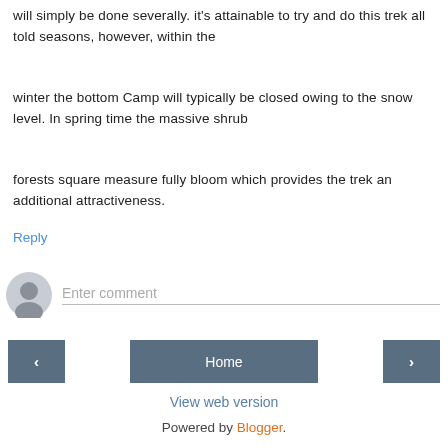will simply be done severally. it's attainable to try and do this trek all told seasons, however, within the
winter the bottom Camp will typically be closed owing to the snow level. In spring time the massive shrub
forests square measure fully bloom which provides the trek an additional attractiveness.
Reply
Enter comment
< Home > View web version Powered by Blogger.